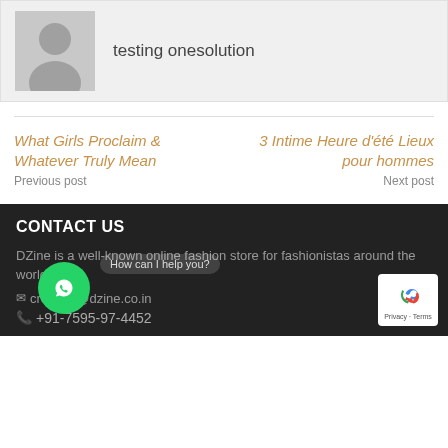[Figure (photo): User avatar placeholder with silhouette icon on grey background]
testing onesolution
What Girls Proclaim & Whatever Truly Mean
Previous post
3 Intime Heure d'été Lieux pour hommes
Next post
CONTACT US
DZine is a well-known online fashion store for fashionistas around the world.
creation@dzine.co.in
+91-7595-97-4452